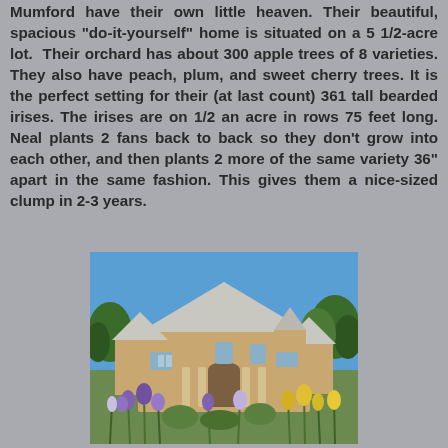Mumford have their own little heaven. Their beautiful, spacious "do-it-yourself" home is situated on a 5 1/2-acre lot. Their orchard has about 300 apple trees of 8 varieties. They also have peach, plum, and sweet cherry trees. It is the perfect setting for their (at last count) 361 tall bearded irises. The irises are on 1/2 an acre in rows 75 feet long. Neal plants 2 fans back to back so they don't grow into each other, and then plants 2 more of the same variety 36" apart in the same fashion. This gives them a nice-sized clump in 2-3 years.
[Figure (photo): A large beautiful house with a light grey multi-gabled roof, surrounded by blooming purple and yellow irises in the foreground, with green trees in the background under a blue sky.]